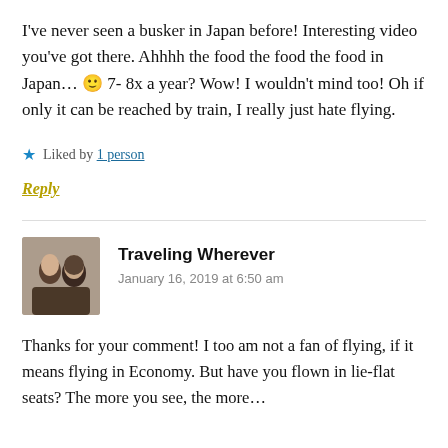I've never seen a busker in Japan before! Interesting video you've got there. Ahhhh the food the food the food in Japan… 🙂 7- 8x a year? Wow! I wouldn't mind too! Oh if only it can be reached by train, I really just hate flying.
★ Liked by 1 person
Reply
Traveling Wherever
January 16, 2019 at 6:50 am
Thanks for your comment! I too am not a fan of flying, if it means flying in Economy. But have you flown in lie-flat seats? The more you see, the more…